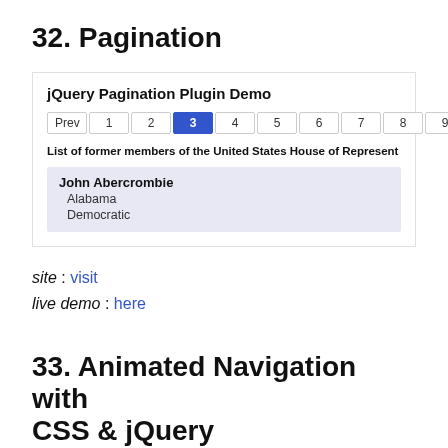32. Pagination
[Figure (screenshot): jQuery Pagination Plugin Demo screenshot showing pagination bar with Prev, 1, 2, 3 (active/highlighted), 4, 5, 6, 7, 8, 9, 10, ..., 60, 61, Next buttons, a bold text label 'List of former members of the United States House of Represent', and a result entry for John Abercrombie from Alabama, Democratic party, shown in a light blue-grey box.]
site : visit
live demo : here
33. Animated Navigation with CSS & jQuery